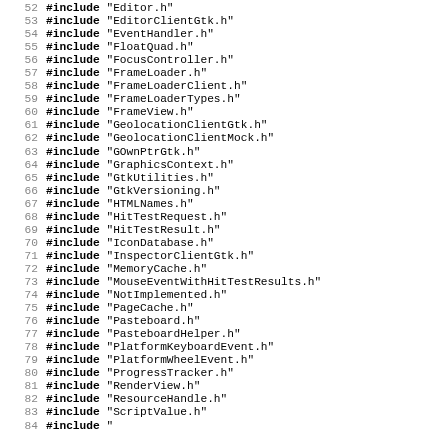52 #include "Editor.h"
53 #include "EditorClientGtk.h"
54 #include "EventHandler.h"
55 #include "FloatQuad.h"
56 #include "FocusController.h"
57 #include "FrameLoader.h"
58 #include "FrameLoaderClient.h"
59 #include "FrameLoaderTypes.h"
60 #include "FrameView.h"
61 #include "GeolocationClientGtk.h"
62 #include "GeolocationClientMock.h"
63 #include "GOwnPtrGtk.h"
64 #include "GraphicsContext.h"
65 #include "GtkUtilities.h"
66 #include "GtkVersioning.h"
67 #include "HTMLNames.h"
68 #include "HitTestRequest.h"
69 #include "HitTestResult.h"
70 #include "IconDatabase.h"
71 #include "InspectorClientGtk.h"
72 #include "MemoryCache.h"
73 #include "MouseEventWithHitTestResults.h"
74 #include "NotImplemented.h"
75 #include "PageCache.h"
76 #include "Pasteboard.h"
77 #include "PasteboardHelper.h"
78 #include "PlatformKeyboardEvent.h"
79 #include "PlatformWheelEvent.h"
80 #include "ProgressTracker.h"
81 #include "RenderView.h"
82 #include "ResourceHandle.h"
83 #include "ScriptValue.h"